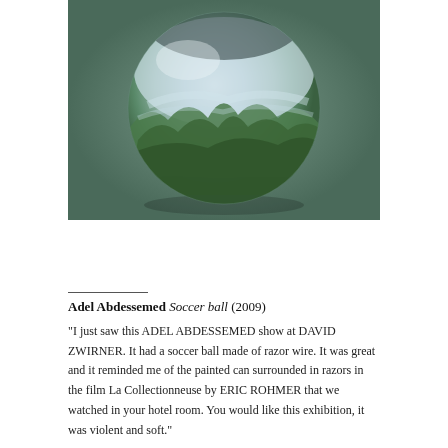[Figure (photo): A spherical soccer ball-like object painted or decorated with a landscape scene — misty forest with green trees and white/grey sky — photographed against a grey-green blurred background.]
Adel Abdessemed Soccer ball (2009)
"I just saw this ADEL ABDESSEMED show at DAVID ZWIRNER. It had a soccer ball made of razor wire. It was great and it reminded me of the painted can surrounded in razors in the film La Collectionneuse by ERIC ROHMER that we watched in your hotel room. You would like this exhibition, it was violent and soft."